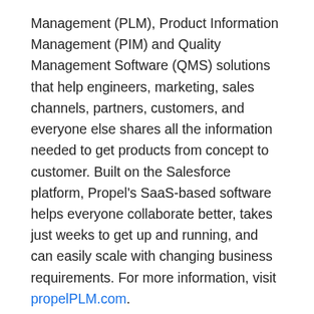Management (PLM), Product Information Management (PIM) and Quality Management Software (QMS) solutions that help engineers, marketing, sales channels, partners, customers, and everyone else shares all the information needed to get products from concept to customer. Built on the Salesforce platform, Propel's SaaS-based software helps everyone collaborate better, takes just weeks to get up and running, and can easily scale with changing business requirements. For more information, visit propelPLM.com.
Source: Propel
Share: